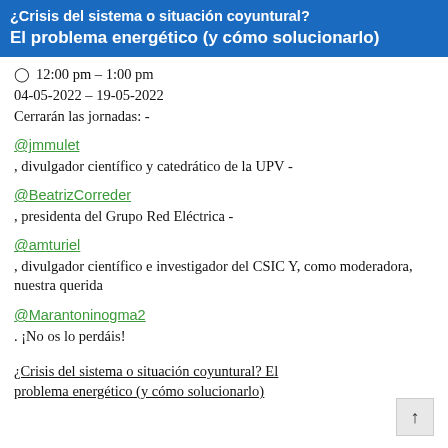¿Crisis del sistema o situación coyuntural? El problema energético (y cómo solucionarlo)
⊙ 12:00 pm – 1:00 pm
04-05-2022 – 19-05-2022
Cerrarán las jornadas: -
@jmmulet
, divulgador científico y catedrático de la UPV -
@BeatrizCorreder
, presidenta del Grupo Red Eléctrica -
@amturiel
, divulgador científico e investigador del CSIC Y, como moderadora, nuestra querida
@Marantoninogma2
. ¡No os lo perdáis!
¿Crisis del sistema o situación coyuntural? El problema energético (y cómo solucionarlo)